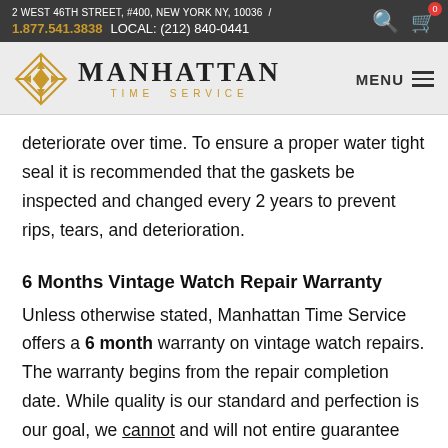2 WEST 46TH STREET, #400, NEW YORK NY, 10036 / 1.877.541.3838 LOCAL: (212) 840-0441
[Figure (logo): Manhattan Time Service logo with diamond/geometric icon and text]
deteriorate over time. To ensure a proper water tight seal it is recommended that the gaskets be inspected and changed every 2 years to prevent rips, tears, and deterioration.
6 Months Vintage Watch Repair Warranty
Unless otherwise stated, Manhattan Time Service offers a 6 month warranty on vintage watch repairs. The warranty begins from the repair completion date. While quality is our standard and perfection is our goal, we cannot and will not entire guarantee achieving the standard accuracy of your time provided by the original manufacturer to a modern day and